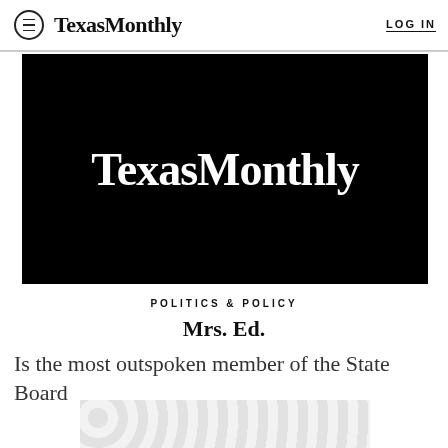TexasMonthly  LOG IN
[Figure (logo): Texas Monthly logo in white text on black background]
POLITICS & POLICY
Mrs. Ed.
Is the most outspoken member of the State Board of Education a visionary or a crackpot? Olya